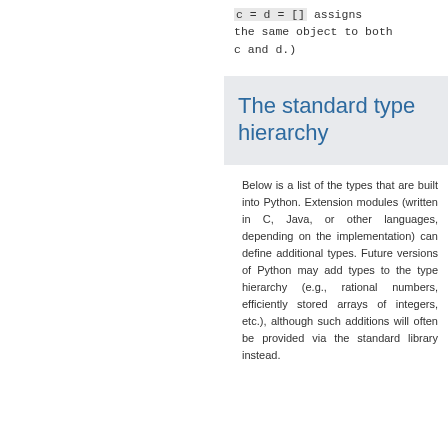c = d = [] assigns the same object to both c and d.)
The standard type hierarchy
Below is a list of the types that are built into Python. Extension modules (written in C, Java, or other languages, depending on the implementation) can define additional types. Future versions of Python may add types to the type hierarchy (e.g., rational numbers, efficiently stored arrays of integers, etc.), although such additions will often be provided via the standard library instead.